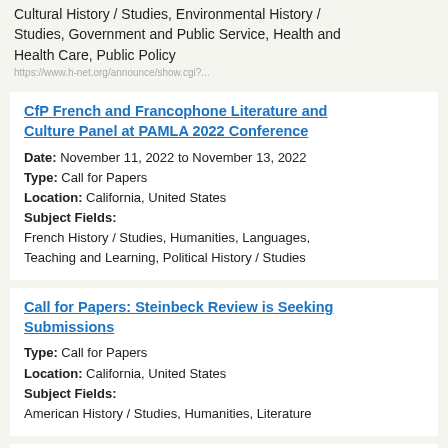Cultural History / Studies, Environmental History / Studies, Government and Public Service, Health and Health Care, Public Policy
CfP French and Francophone Literature and Culture Panel at PAMLA 2022 Conference
Date: November 11, 2022 to November 13, 2022
Type: Call for Papers
Location: California, United States
Subject Fields:
French History / Studies, Humanities, Languages, Teaching and Learning, Political History / Studies
Call for Papers: Steinbeck Review is Seeking Submissions
Type: Call for Papers
Location: California, United States
Subject Fields:
American History / Studies, Humanities, Literature
Journal of the Georgia Association of Historians (JGAH)